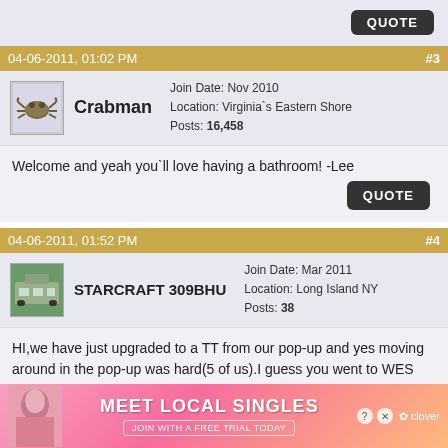QUOTE
04-06-2011, 01:02 PM  #3
Crabman  Join Date: Nov 2010  Location: Virginia`s Eastern Shore  Posts: 16,458
Welcome and yeah you`ll love having a bathroom! -Lee
QUOTE
04-06-2011, 01:52 PM  #4
STARCRAFT 309BHU  Join Date: Mar 2011  Location: Long Island NY  Posts: 38
HI,we have just upgraded to a TT from our pop-up and yes moving around in the pop-up was hard(5 of us).I guess you went to WES trailers out east? we loved the JAYCO trailer but got a good deal on our Starcraft out of state.Let us know what you decide,i can tell you that i looked on LI for a year and a half for a used deal but all that i looked at
[Figure (infographic): Advertisement banner: MEET LOCAL SINGLES with JOIN WITH A FREE TRIAL TODAY and clover logo]